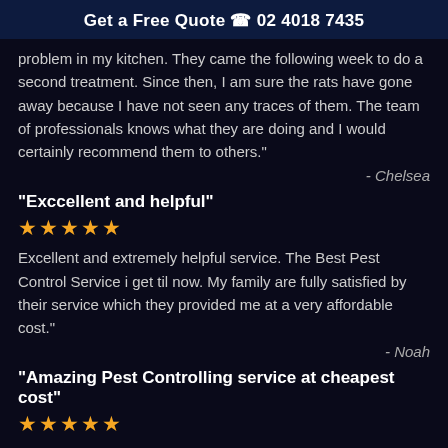Get a Free Quote 📞 02 4018 7435
problem in my kitchen. They came the following week to do a second treatment. Since then, I am sure the rats have gone away because I have not seen any traces of them. The team of professionals knows what they are doing and I would certainly recommend them to others."
- Chelsea
"Exccellent and helpful"
★★★★★
Excellent and extremely helpful service. The Best Pest Control Service i get til now. My family are fully satisfied by their service which they provided me at a very affordable cost."
- Noah
"Amazing Pest Controlling service at cheapest cost"
★★★★★